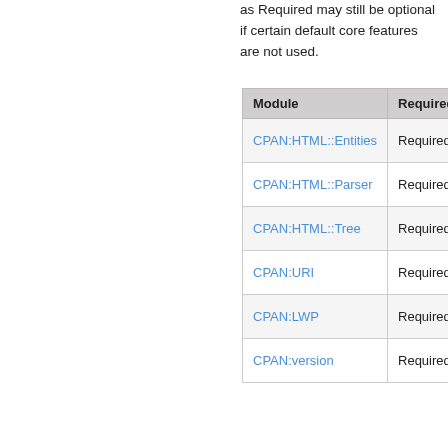as Required may still be optional if certain default core features are not used.
| Module | Required/ |
| --- | --- |
| CPAN:HTML::Entities | Required |
| CPAN:HTML::Parser | Required |
| CPAN:HTML::Tree | Required |
| CPAN:URI | Required |
| CPAN:LWP | Required |
| CPAN:version | Required |